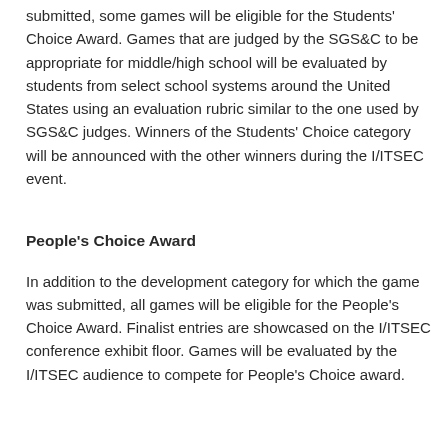submitted, some games will be eligible for the Students' Choice Award. Games that are judged by the SGS&C to be appropriate for middle/high school will be evaluated by students from select school systems around the United States using an evaluation rubric similar to the one used by SGS&C judges. Winners of the Students' Choice category will be announced with the other winners during the I/ITSEC event.
People's Choice Award
In addition to the development category for which the game was submitted, all games will be eligible for the People's Choice Award. Finalist entries are showcased on the I/ITSEC conference exhibit floor. Games will be evaluated by the I/ITSEC audience to compete for People's Choice award.